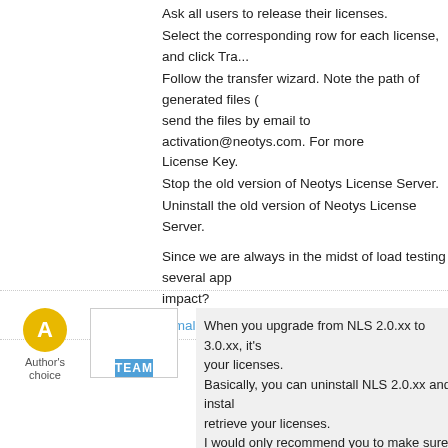Ask all users to release their licenses.
Select the corresponding row for each license, and click Tra...
Follow the transfer wizard. Note the path of generated files ( send the files by email to activation@neotys.com. For more License Key.
Stop the old version of Neotys License Server.
Uninstall the old version of Neotys License Server.
Since we are always in the midst of load testing several app impact?
Vimala R.   March 12, 2013
When you upgrade from NLS 2.0.xx to 3.0.xx, it's your licenses.
Basically, you can uninstall NLS 2.0.xx and install retrieve your licenses.
I would only recommend you to make sure that no leased by any NeoLoad.
That  should minimize the upgrade process time.